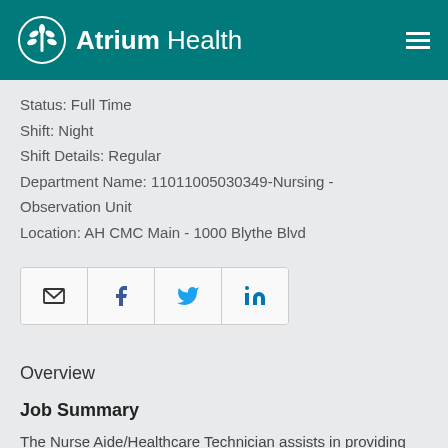[Figure (logo): Atrium Health logo with teal background, white plant/leaf circle icon and text 'Atrium Health']
Status: Full Time
Shift: Night
Shift Details: Regular
Department Name: 11011005030349-Nursing - Observation Unit
Location: AH CMC Main - 1000 Blythe Blvd
[Figure (other): Social sharing buttons: email, Facebook, Twitter, LinkedIn]
Overview
Job Summary
The Nurse Aide/Healthcare Technician assists in providing